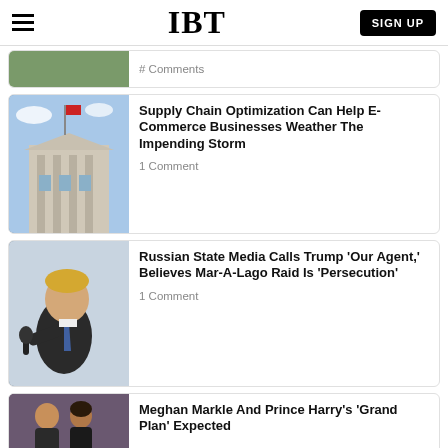IBT | SIGN UP
# Comments (partial, cut off at top)
Supply Chain Optimization Can Help E-Commerce Businesses Weather The Impending Storm
1 Comment
Russian State Media Calls Trump 'Our Agent,' Believes Mar-A-Lago Raid Is 'Persecution'
1 Comment
Meghan Markle And Prince Harry's 'Grand Plan' Expected